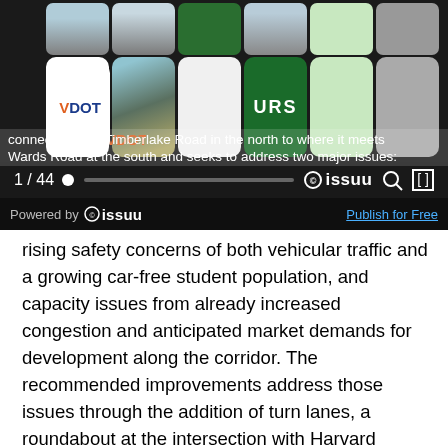[Figure (screenshot): Screenshot of an Issuu document viewer showing a VDOT/URS cover page with tile grid of road images, logos, and green color swatches. Player bar shows 1/44 with progress slider, Issuu logo, search and fullscreen icons. Bottom bar shows 'Powered by Issuu' with a 'Publish for Free' link.]
connection with Timberlake Road in the north to where it meets Wards Road at the south and seeks to address two major issues: rising safety concerns of both vehicular traffic and a growing car-free student population, and capacity issues from already increased congestion and anticipated market demands for development along the corridor. The recommended improvements address those issues through the addition of turn lanes, a roundabout at the intersection with Harvard Street, improved sight distances, and a shared-use path or a combination of bike lanes and traditional sidewalks.  Two alternatives are presented as the “Initial Preferred Alternative” and the “Recommended Preferred Alternative,” reflecting a staff level concern over the acquisition of right-of-way needed for the “Initial Preferred Alternative.” Both